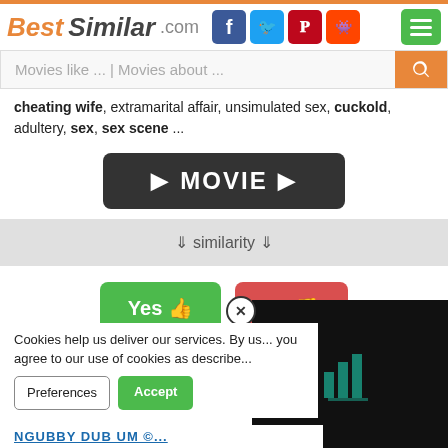BestSimilar.com
Movies like ... | Movies about ...
cheating wife, extramarital affair, unsimulated sex, cuckold, adultery, sex, sex scene ...
[Figure (other): Dark play button with text MOVIE and two triangles pointing right]
⇓ similarity ⇓
[Figure (other): Yes thumbs up (green) and No thumbs down (red) voting buttons]
100
[Figure (other): Black panel with teal chart/stats icon]
Cookies help us deliver our services. By us... you agree to our use of cookies as describe...
Preferences
Accept